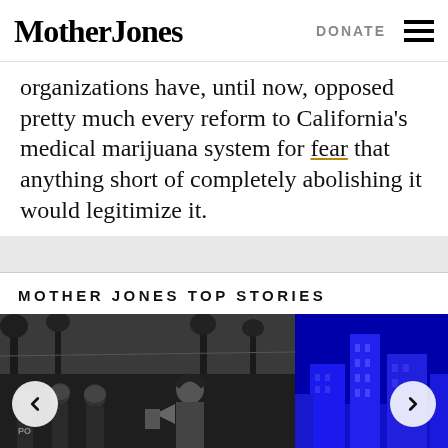Mother Jones | DONATE ☰
organizations have, until now, opposed pretty much every reform to California's medical marijuana system for fear that anything short of completely abolishing it would legitimize it.
MOTHER JONES TOP STORIES
[Figure (photo): Black and white photo of protesters facing riot police, woman with megaphone at center. Next to it, a blue-tinted photo of city skyscrapers. A carousel with left and right navigation arrows is overlaid.]